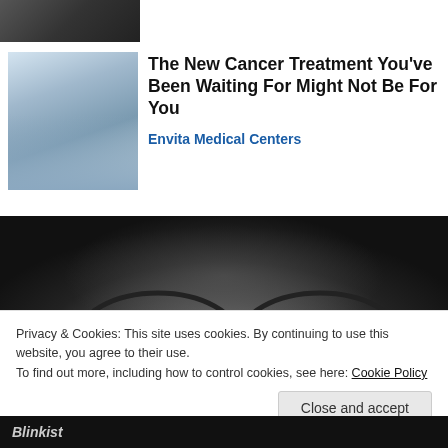[Figure (photo): Partial top image strip showing a dark background, cropped at top of page]
[Figure (photo): Elderly woman lying in bed with older man sitting beside her, medical setting]
The New Cancer Treatment You've Been Waiting For Might Not Be For You
Envita Medical Centers
[Figure (photo): Black and white close-up photo of a person's eyes wearing round glasses, looking upward]
Privacy & Cookies: This site uses cookies. By continuing to use this website, you agree to their use.
To find out more, including how to control cookies, see here: Cookie Policy
Close and accept
Blinkist